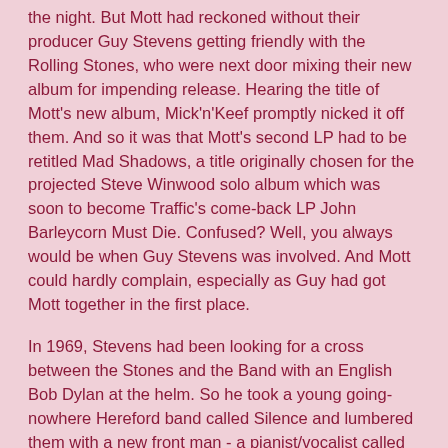the night. But Mott had reckoned without their producer Guy Stevens getting friendly with the Rolling Stones, who were next door mixing their new album for impending release. Hearing the title of Mott's new album, Mick'n'Keef promptly nicked it off them. And so it was that Mott's second LP had to be retitled Mad Shadows, a title originally chosen for the projected Steve Winwood solo album which was soon to become Traffic's come-back LP John Barleycorn Must Die. Confused? Well, you always would be when Guy Stevens was involved. And Mott could hardly complain, especially as Guy had got Mott together in the first place.
In 1969, Stevens had been looking for a cross between the Stones and the Band with an English Bob Dylan at the helm. So he took a young going-nowhere Hereford band called Silence and lumbered them with a new front man - a pianist/vocalist called Ian Hunter, a guy in his 30s who'd played bass in the New Yardbirds and had been a staff songwriter in London's tin pan alley. The first album had been cobbled together in late 1969, without Stevens knowing that Ian Hunter had never really been a pianist at all and could only play the chords G, C and D; all in a hugely